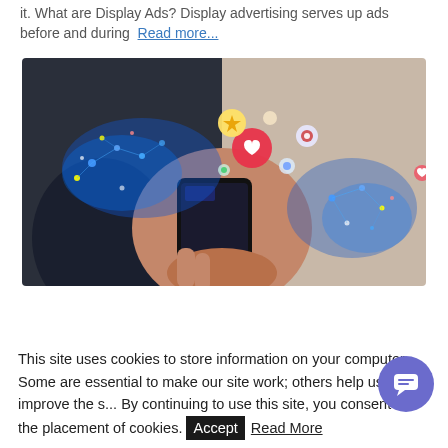it. What are Display Ads? Display advertising serves up ads before and during Read more...
[Figure (photo): Person holding a smartphone with social media icons and glowing network connections floating above the screen; split image with similar glowing network on the right side]
This site uses cookies to store information on your computer. Some are essential to make our site work; others help us improve the s... By continuing to use this site, you consent to the placement of cookies. Accept Read More